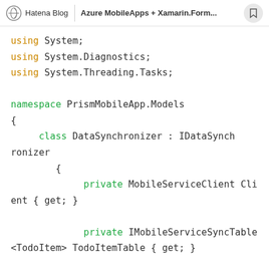Hatena Blog | Azure MobileApps + Xamarin.Form...
using System;
using System.Diagnostics;
using System.Threading.Tasks;

namespace PrismMobileApp.Models
{
    class DataSynchronizer : IDataSynchronizer
    {
        private MobileServiceClient Client { get; }

        private IMobileServiceSyncTable<TodoItem> TodoItemTable { get; }